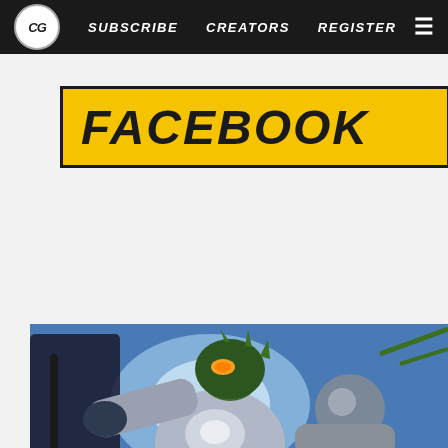CG | SUBSCRIBE CREATORS REGISTER
FACEBOOK
TWITTER
[Figure (illustration): Comic book artwork showing an armored superhero character with green reptilian head and silver armor in an action pose, fighting another character]